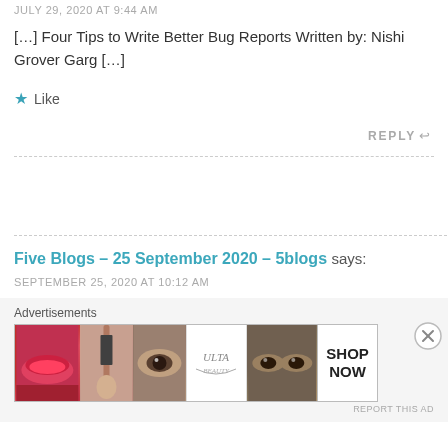JULY 29, 2020 AT 9:44 AM
[…] Four Tips to Write Better Bug Reports Written by: Nishi Grover Garg […]
★ Like
REPLY ↩
Five Blogs – 25 September 2020 – 5blogs says:
SEPTEMBER 25, 2020 AT 10:12 AM
Advertisements
[Figure (other): Ulta Beauty advertisement banner with makeup images (lips, brush, eye, Ulta logo, eyes, SHOP NOW)]
REPORT THIS AD